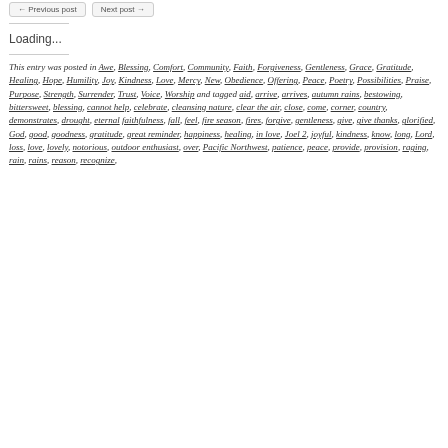[Figure (other): Two small UI buttons at top of page]
Loading...
This entry was posted in Awe, Blessing, Comfort, Community, Faith, Forgiveness, Gentleness, Grace, Gratitude, Healing, Hope, Humility, Joy, Kindness, Love, Mercy, New, Obedience, Offering, Peace, Poetry, Possibilities, Praise, Purpose, Strength, Surrender, Trust, Voice, Worship and tagged aid, arrive, arrives, autumn rains, bestowing, bittersweet, blessing, cannot help, celebrate, cleansing nature, clear the air, close, come, corner, country, demonstrates, drought, eternal faithfulness, fall, feel, fire season, fires, forgive, gentleness, give, give thanks, glorified, God, good, goodness, gratitude, great reminder, happiness, healing, in love, Joel 2, joyful, kindness, know, long, Lord, loss, love, lovely, notorious, outdoor enthusiast, over, Pacific Northwest, patience, peace, provide, provision, raging, rain, rains, reason, recognize,